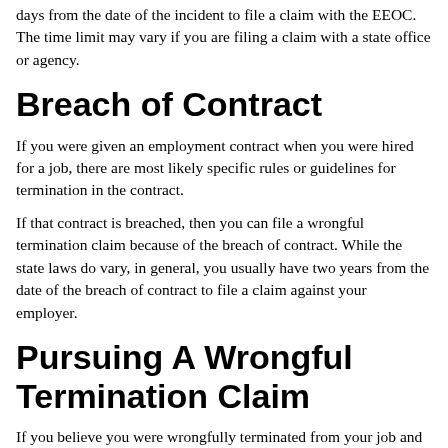days from the date of the incident to file a claim with the EEOC. The time limit may vary if you are filing a claim with a state office or agency.
Breach of Contract
If you were given an employment contract when you were hired for a job, there are most likely specific rules or guidelines for termination in the contract.
If that contract is breached, then you can file a wrongful termination claim because of the breach of contract. While the state laws do vary, in general, you usually have two years from the date of the breach of contract to file a claim against your employer.
Pursuing A Wrongful Termination Claim
If you believe you were wrongfully terminated from your job and laws were broken, you should consult with an experienced employment law attorney who handles wrongful termination claims in your area.